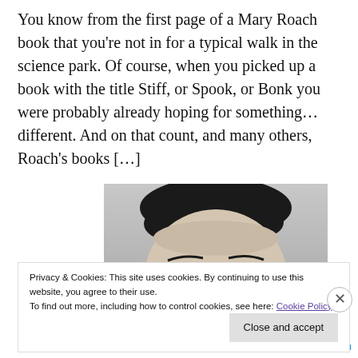You know from the first page of a Mary Roach book that you're not in for a typical walk in the science park. Of course, when you picked up a book with the title Stiff, or Spook, or Bonk you were probably already hoping for something…different. And on that count, and many others, Roach's books […]
[Figure (photo): Black and white photograph of a person's face peering upward, eyes looking up toward the camera, with dark hair visible at the top of the frame.]
Privacy & Cookies: This site uses cookies. By continuing to use this website, you agree to their use.
To find out more, including how to control cookies, see here: Cookie Policy
Close and accept